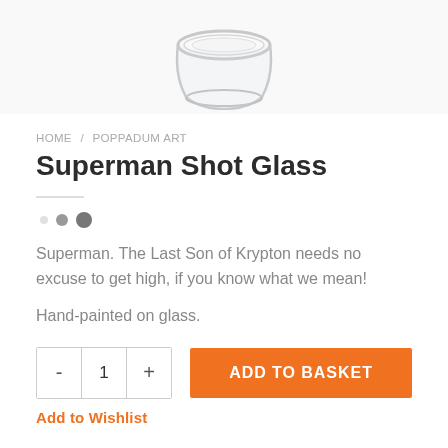[Figure (photo): Partial view of a clear glass shot glass from above, showing the rim and top portion on a white background]
HOME / POPPADUM ART
Superman Shot Glass
[Figure (other): Three pagination dots: small light grey, medium grey, large dark grey]
Superman. The Last Son of Krypton needs no excuse to get high, if you know what we mean!
Hand-painted on glass.
- 1 + ADD TO BASKET
Add to Wishlist